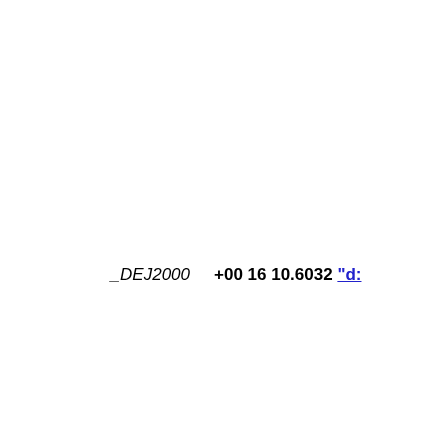_DEJ2000   +00 16 10.6032 "d:...
_RAB1950   01 06 17.08668 "h:...
_DEB1950   +00 00 11.7702 "d:...